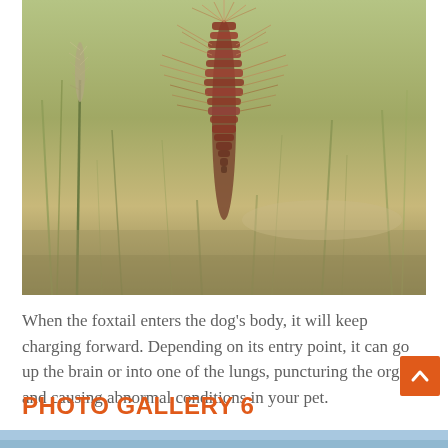[Figure (photo): Close-up photograph of a foxtail grass plant with a reddish-brown seed head with wispy bristles, set against a background of green and golden dry grass in an outdoor field.]
When the foxtail enters the dog's body, it will keep charging forward. Depending on its entry point, it can go up the brain or into one of the lungs, puncturing the organ and causing abnormal conditions in your pet.
PHOTO GALLERY 6